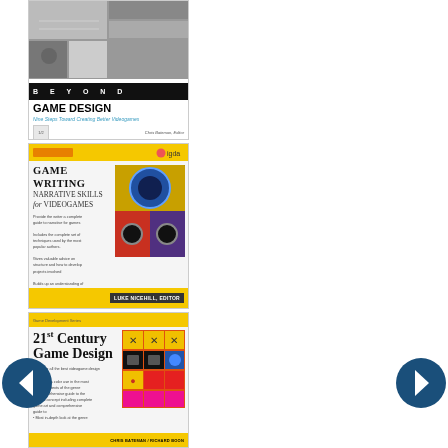[Figure (illustration): Book cover: 'Beyond Game Design: Nine Steps Toward Creating Better Videogames' edited by Chris Bateman. Top has photo collage, black band with BEYOND text, white bottom with bold title.]
[Figure (illustration): Book cover: 'Game Writing: Narrative Skills for Videogames'. Yellow top band with IGDA logo, serif title, decorative image of game elements, yellow bottom band with author name.]
[Figure (illustration): Book cover: '21st Century Game Design'. Yellow top band, serif title, colorful grid image of game icons, yellow bottom band with author names Chris Bateman / Richard Boon.]
[Figure (illustration): Left navigation arrow (back) - dark blue circle with white left-pointing arrow]
[Figure (illustration): Right navigation arrow (forward) - dark blue circle with white right-pointing arrow]